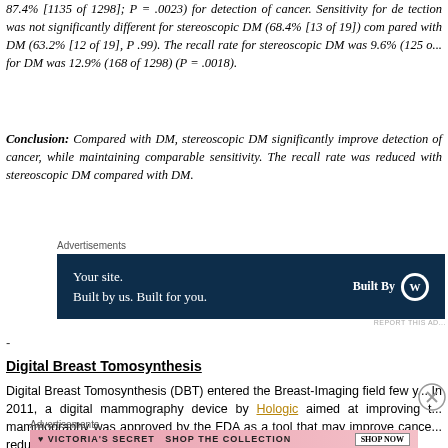87.4% [1135 of 1298]; P = .0023) for detection of cancer. Sensitivity for detection was not significantly different for stereoscopic DM (68.4% [13 of 19]) compared with DM (63.2% [12 of 19], P .99). The recall rate for stereoscopic DM was 9.6% (125 of ...) and for DM was 12.9% (168 of 1298) (P = .0018).
Conclusion: Compared with DM, stereoscopic DM significantly improved the detection of cancer, while maintaining comparable sensitivity. The recall rate was reduced with stereoscopic DM compared with DM.
[Figure (other): Advertisement banner: dark navy background with text 'Your site. Built by us. Built for you.' and WordPress Built By logo on right]
-
Digital Breast Tomosynthesis
Digital Breast Tomosynthesis (DBT) entered the Breast-Imaging field few years ago. In 2011, a digital mammography device by Hologic aimed at improving the digital mammography was approved by the FDA as a tool that may improve cancer detection while reducing the number of patient recalls.
[Figure (other): Victoria's Secret advertisement: pink background with model, VS logo, 'SHOP THE COLLECTION' text and 'SHOP NOW' button]